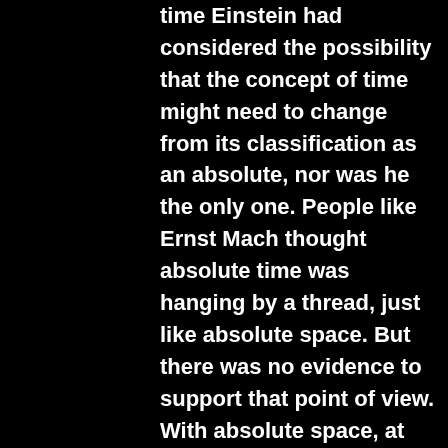time Einstein had considered the possibility that the concept of time might need to change from its classification as an absolute, nor was he the only one. People like Ernst Mach thought absolute time was hanging by a thread, just like absolute space. But there was no evidence to support that point of view. With absolute space, at least, there were experiments and mathematical calculations that demonstrated a divergence from Newtonian predictions. There was no such evidence for challenges to absolute time.
	The challengers were going on instinct, which was a risky business in a field like physics. In addition, no reasonable scientist would discard something useful without a good reason.